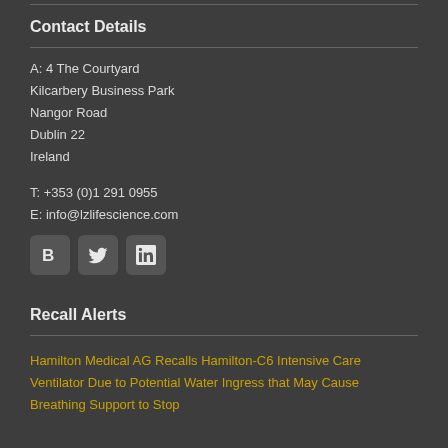Contact Details
A: 4 The Courtyard
Kilcarbery Business Park
Nangor Road
Dublin 22
Ireland
T: +353 (0)1 291 0955
E: info@lzlifescience.com
[Figure (other): Social media icons: Blog (B), Twitter, LinkedIn]
Recall Alerts
Hamilton Medical AG Recalls Hamilton-C6 Intensive Care Ventilator Due to Potential Water Ingress that May Cause Breathing Support to Stop